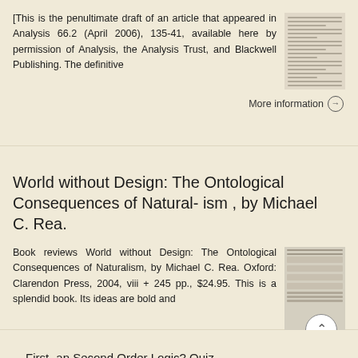[This is the penultimate draft of an article that appeared in Analysis 66.2 (April 2006), 135-41, available here by permission of Analysis, the Analysis Trust, and Blackwell Publishing. The definitive
More information →
World without Design: The Ontological Consequences of Natural- ism , by Michael C. Rea.
Book reviews World without Design: The Ontological Consequences of Naturalism, by Michael C. Rea. Oxford: Clarendon Press, 2004, viii + 245 pp., $24.95. This is a splendid book. Its ideas are bold and
More information →
First- an Second Order Logic? Ouiz...